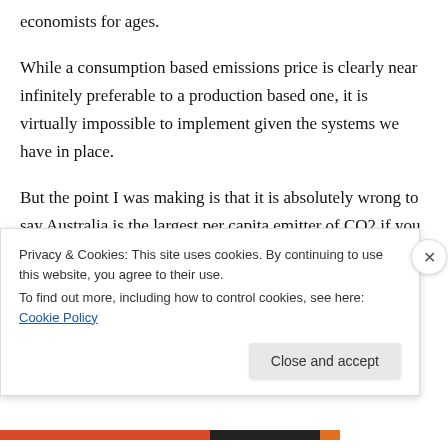economists for ages.
While a consumption based emissions price is clearly near infinitely preferable to a production based one, it is virtually impossible to implement given the systems we have in place.
But the point I was making is that it is absolutely wrong to say Australia is the largest per capita emitter of CO2 if you probably account for embodied emissions per capita.
Privacy & Cookies: This site uses cookies. By continuing to use this website, you agree to their use.
To find out more, including how to control cookies, see here: Cookie Policy
Close and accept